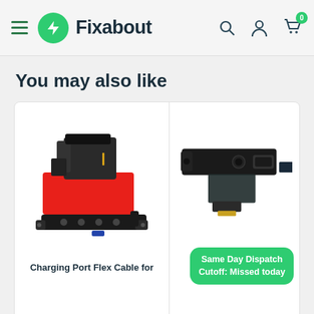Fixabout
You may also like
[Figure (photo): Charging port flex cable component for iPhone, showing red and black flex ribbon with connector ports]
Charging Port Flex Cable for
[Figure (photo): Charging port flex cable component, partially visible, dark colored with connector ports]
Charging Port Flex
Same Day Dispatch
Cutoff: Missed today